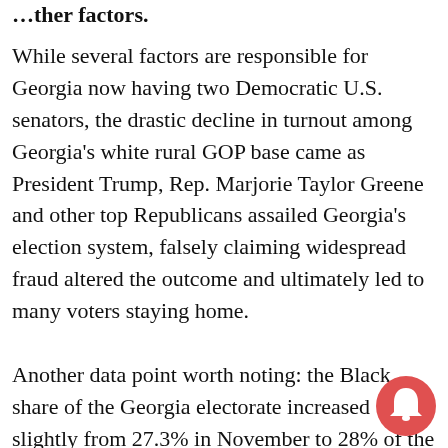…ther factors.
While several factors are responsible for Georgia now having two Democratic U.S. senators, the drastic decline in turnout among Georgia's white rural GOP base came as President Trump, Rep. Marjorie Taylor Greene and other top Republicans assailed Georgia's election system, falsely claiming widespread fraud altered the outcome and ultimately led to many voters staying home.
Another data point worth noting: the Black share of the Georgia electorate increased slightly from 27.3% in November to 28% of the votes cast in January. Black voters make up 30%